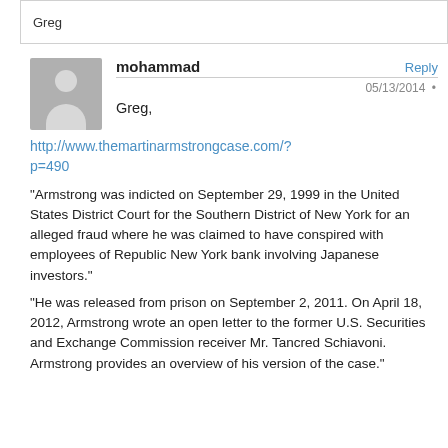Greg
[Figure (illustration): Gray avatar silhouette of a person (head and shoulders)]
mohammad
Reply
05/13/2014 •
Greg,
http://www.themartinarmstrongcase.com/?p=490
“Armstrong was indicted on September 29, 1999 in the United States District Court for the Southern District of New York for an alleged fraud where he was claimed to have conspired with employees of Republic New York bank involving Japanese investors.”
“He was released from prison on September 2, 2011. On April 18, 2012, Armstrong wrote an open letter to the former U.S. Securities and Exchange Commission receiver Mr. Tancred Schiavoni. Armstrong provides an overview of his version of the case.”